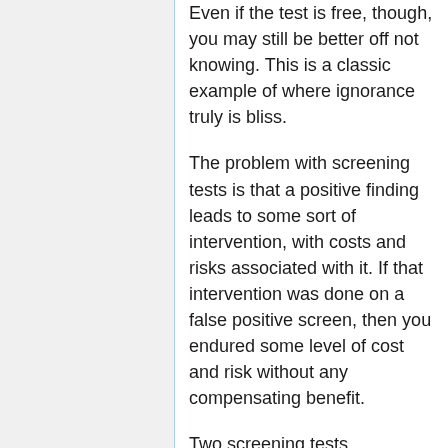Even if the test is free, though, you may still be better off not knowing. This is a classic example of where ignorance truly is bliss.
The problem with screening tests is that a positive finding leads to some sort of intervention, with costs and risks associated with it. If that intervention was done on a false positive screen, then you endured some level of cost and risk without any compensating benefit.
Two screening tests, mammography for breast cancer in women, and PSA